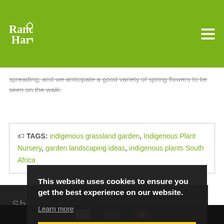Random Harvest
spreading, and we anticipate a good variety of spring flowers to be seen on the walk.
TAGS: indigenous grassland garden, Indigenous Plant Nursery, garden landscaping ideas, indigenous plants South Africa
Share this post
This website uses cookies to ensure you get the best experience on our website. Learn more Got it!